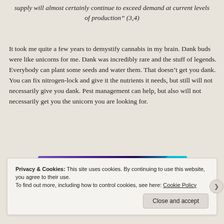supply will almost certainly continue to exceed demand at current levels of production" (3,4)
It took me quite a few years to demystify cannabis in my brain. Dank buds were like unicorns for me. Dank was incredibly rare and the stuff of legends. Everybody can plant some seeds and water them. That doesn’t get you dank. You can fix nitrogen-lock and give it the nutrients it needs, but still will not necessarily give you dank. Pest management can help, but also will not necessarily get you the unicorn you are looking for.
[Figure (other): Advertisement banner with purple and teal gradient colors]
Privacy & Cookies: This site uses cookies. By continuing to use this website, you agree to their use.
To find out more, including how to control cookies, see here: Cookie Policy